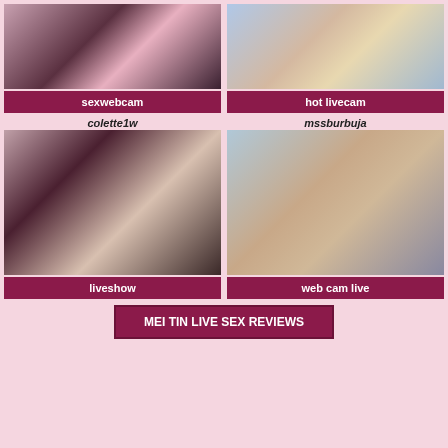[Figure (photo): Top-left webcam photo with dark fishnet/lingerie]
sexwebcam
[Figure (photo): Top-right livecam photo with blonde woman in yellow top]
hot livecam
colette1w
[Figure (photo): Bottom-left liveshow photo with blonde woman in black lingerie]
liveshow
mssburbuja
[Figure (photo): Bottom-right web cam live photo]
web cam live
MEI TIN LIVE SEX REVIEWS